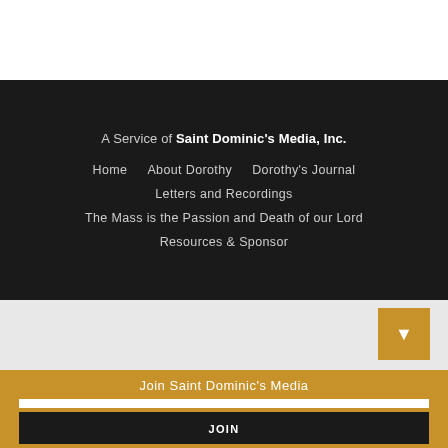A Service of Saint Dominic's Media, Inc.
Home
About Dorothy
Dorothy's Journal
Letters and Recordings
The Mass is the Passion and Death of our Lord
Resources & Sponsor
Join Saint Dominic's Media
YOUR EMAIL ADDRESS..
JOIN